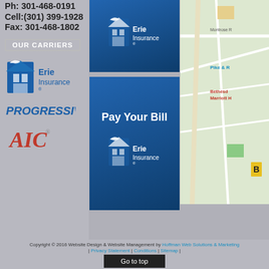Ph: 301-468-0191
Cell:(301) 399-1928
Fax: 301-468-1802
OUR CARRIERS
[Figure (logo): Erie Insurance logo (blue and white)]
[Figure (logo): Progressive logo (blue italic text)]
[Figure (logo): AIC logo (red italic script)]
[Figure (logo): Erie Insurance banner top]
[Figure (logo): Pay Your Bill Erie Insurance banner]
[Figure (map): Google map showing Bethesda area with Montrose Rd, Pike & R, Bethesda Marriott H labels]
Copyright © 2016 Website Design & Website Management by Hoffman Web Solutions & Marketing | Privacy Statement | Conditions | Sitemap |
Go to top